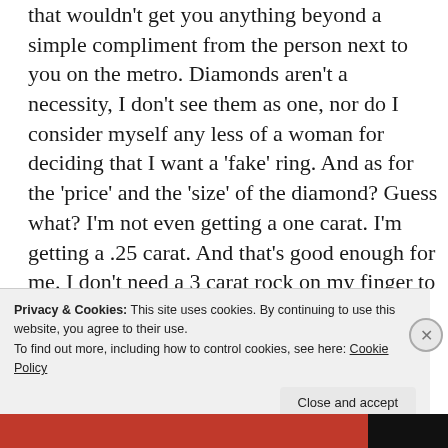that wouldn't get you anything beyond a simple compliment from the person next to you on the metro. Diamonds aren't a necessity, I don't see them as one, nor do I consider myself any less of a woman for deciding that I want a 'fake' ring. And as for the 'price' and the 'size' of the diamond? Guess what? I'm not even getting a one carat. I'm getting a .25 carat. And that's good enough for me. I don't need a 3 carat rock on my finger to prove that my man loves me. He loves me even more for making that
Privacy & Cookies: This site uses cookies. By continuing to use this website, you agree to their use.
To find out more, including how to control cookies, see here: Cookie Policy
Close and accept